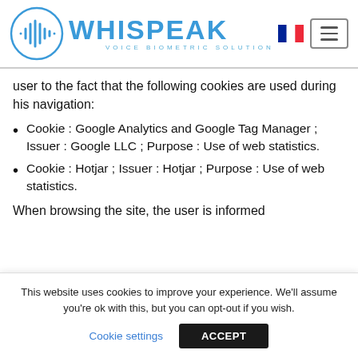WHISPEAK VOICE BIOMETRIC SOLUTION
user to the fact that the following cookies are used during his navigation:
Cookie : Google Analytics and Google Tag Manager ; Issuer : Google LLC ; Purpose : Use of web statistics.
Cookie : Hotjar ; Issuer : Hotjar ; Purpose : Use of web statistics.
When browsing the site, the user is informed
This website uses cookies to improve your experience. We'll assume you're ok with this, but you can opt-out if you wish.
Cookie settings   ACCEPT